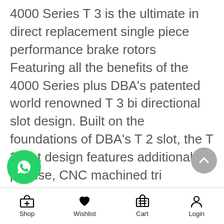4000 Series T 3 is the ultimate in direct replacement single piece performance brake rotors Featuring all the benefits of the 4000 Series plus DBA's patented world renowned T 3 bi directional slot design. Built on the foundations of DBA's T 2 slot, the T 3 slot design features additional, precise, CNC machined tri symmetrical slots, resulting in an even quieter, more responsive and smoother brake pedal fe... The T 3 slot increases the number of exit ts for brake pad friction dust and gases to escape through, further increasing the
Shop   Wishlist   Cart   Login